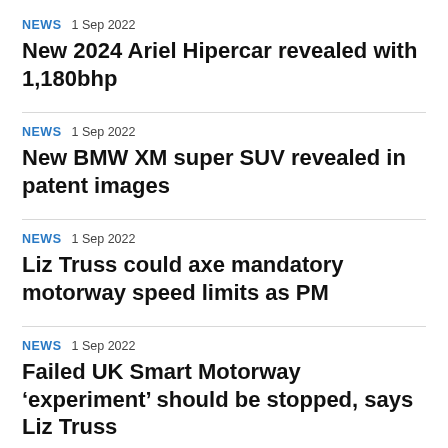NEWS  1 Sep 2022
New 2024 Ariel Hipercar revealed with 1,180bhp
NEWS  1 Sep 2022
New BMW XM super SUV revealed in patent images
NEWS  1 Sep 2022
Liz Truss could axe mandatory motorway speed limits as PM
NEWS  1 Sep 2022
Failed UK Smart Motorway ‘experiment’ should be stopped, says Liz Truss